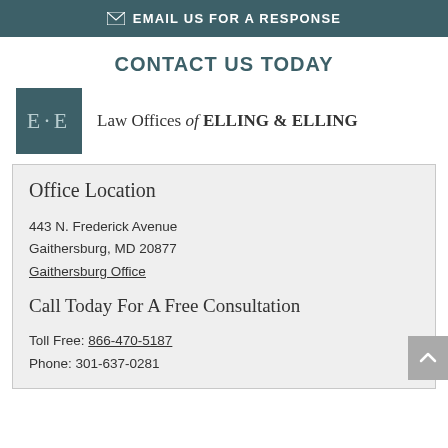EMAIL US FOR A RESPONSE
CONTACT US TODAY
[Figure (logo): Law Offices of Elling & Elling logo with EE monogram in teal box]
Office Location
443 N. Frederick Avenue
Gaithersburg, MD 20877
Gaithersburg Office
Call Today For A Free Consultation
Toll Free: 866-470-5187
Phone: 301-637-0281